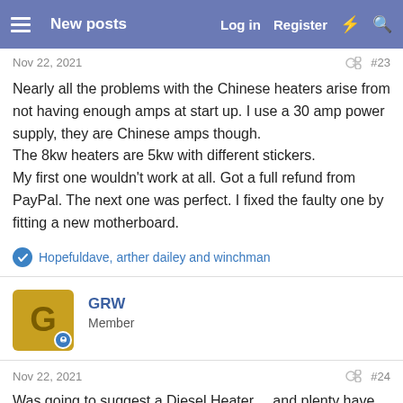New posts  Log in  Register
Nov 22, 2021  #23
Nearly all the problems with the Chinese heaters arise from not having enough amps at start up. I use a 30 amp power supply, they are Chinese amps though.
The 8kw heaters are 5kw with different stickers.
My first one wouldn't work at all. Got a full refund from PayPal. The next one was perfect. I fixed the faulty one by fitting a new motherboard.
Hopefuldave, arther dailey and winchman
GRW
Member
Nov 22, 2021  #24
Was going to suggest a Diesel Heater.... and plenty have covered it well.